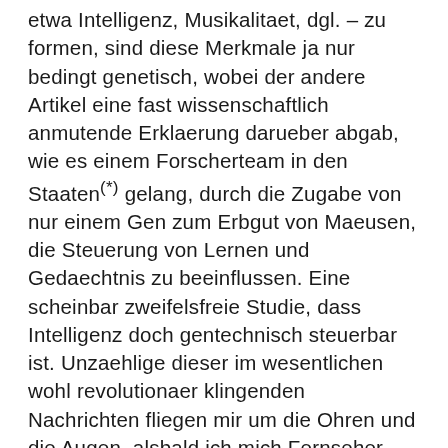etwa Intelligenz, Musikalitaet, dgl. – zu formen, sind diese Merkmale ja nur bedingt genetisch, wobei der andere Artikel eine fast wissenschaftlich anmutende Erklaerung darueber abgab, wie es einem Forscherteam in den Staaten(*) gelang, durch die Zugabe von nur einem Gen zum Erbgut von Maeusen, die Steuerung von Lernen und Gedaechtnis zu beeinflussen. Eine scheinbar zweifelsfreie Studie, dass Intelligenz doch gentechnisch steuerbar ist. Unzaehlige dieser im wesentlichen wohl revolutionaer klingenden Nachrichten fliegen mir um die Ohren und die Augen, alsbald ich mich Fernseher, Zeitung, Buechern oder auch themenbezogenen Symposien widme. Ob nun Versprechung zur besseren Welt oder Vorhersage des Weltuntergangs kann ich mich einer gewissen, feststellbaren Analogie zu vorangegangenen 'Revolutionen' nicht erwehren, welche mir ebenso